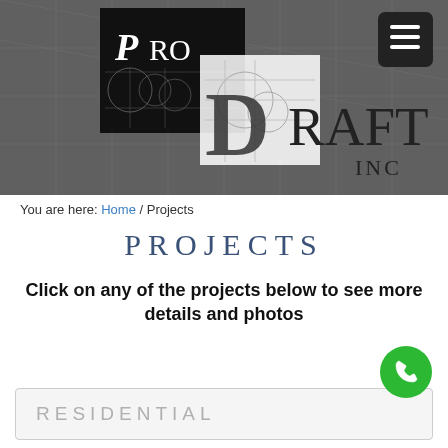[Figure (logo): ProDraft Inc. logo — 'PRO' in white serif letters on black background block, 'DRAFT' in large serif text with engineering drawing overlay, 'INC' below, all on a dark glass building background. Hamburger menu icon (three white lines) in black rounded square at top right.]
You are here: Home / Projects
PROJECTS
Click on any of the projects below to see more details and photos
RESIDENTIAL